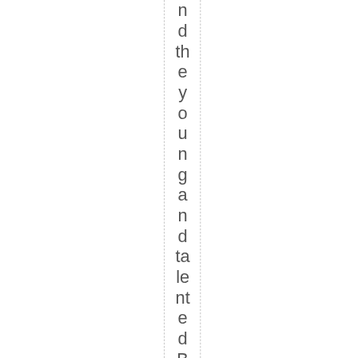nd the young and talented Brittany Weistli